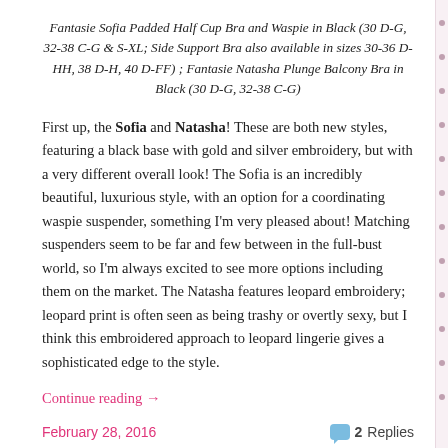Fantasie Sofia Padded Half Cup Bra and Waspie in Black (30 D-G, 32-38 C-G & S-XL; Side Support Bra also available in sizes 30-36 D-HH, 38 D-H, 40 D-FF) ; Fantasie Natasha Plunge Balcony Bra in Black (30 D-G, 32-38 C-G)
First up, the Sofia and Natasha! These are both new styles, featuring a black base with gold and silver embroidery, but with a very different overall look! The Sofia is an incredibly beautiful, luxurious style, with an option for a coordinating waspie suspender, something I'm very pleased about! Matching suspenders seem to be far and few between in the full-bust world, so I'm always excited to see more options including them on the market. The Natasha features leopard embroidery; leopard print is often seen as being trashy or overtly sexy, but I think this embroidered approach to leopard lingerie gives a sophisticated edge to the style.
Continue reading →
February 28, 2016
2 Replies
SU Preview From AW16 (Including From...